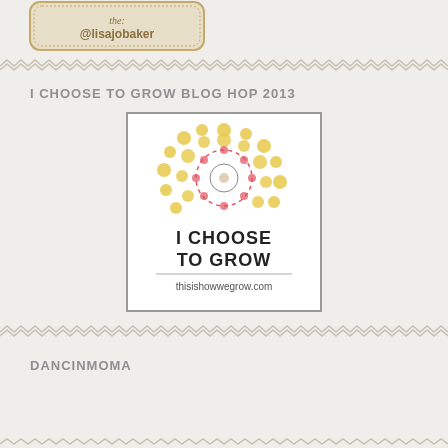[Figure (logo): Stamp-style logo with @lisajobaker text]
I CHOOSE TO GROW BLOG HOP 2013
[Figure (logo): I Choose To Grow badge with golden dot sunflower pattern and text: I CHOOSE TO GROW thisishowwegrow.com]
DANCINMOMA